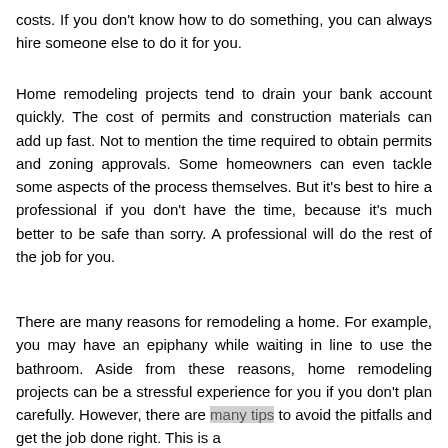costs. If you don't know how to do something, you can always hire someone else to do it for you.
Home remodeling projects tend to drain your bank account quickly. The cost of permits and construction materials can add up fast. Not to mention the time required to obtain permits and zoning approvals. Some homeowners can even tackle some aspects of the process themselves. But it's best to hire a professional if you don't have the time, because it's much better to be safe than sorry. A professional will do the rest of the job for you.
There are many reasons for remodeling a home. For example, you may have an epiphany while waiting in line to use the bathroom. Aside from these reasons, home remodeling projects can be a stressful experience for you if you don't plan carefully. However, there are many tips to avoid the pitfalls and get the job done right. This is a